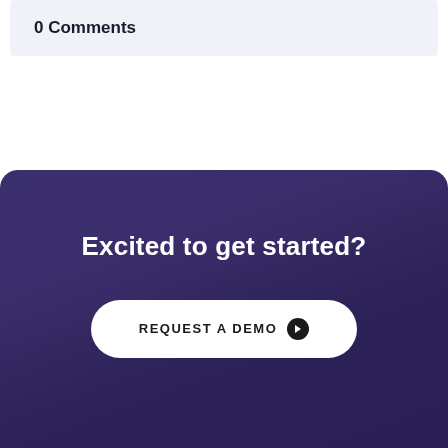0 Comments
Excited to get started?
REQUEST A DEMO